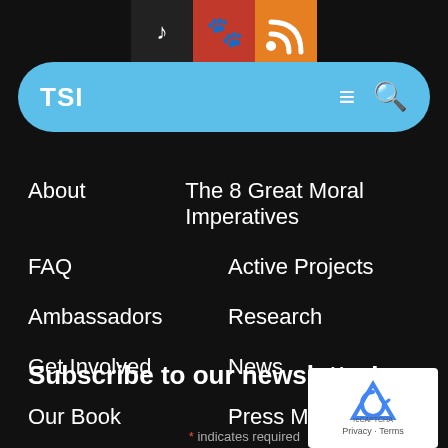[Figure (screenshot): Top social media icons: TikTok (black), Alien/Minds (red), RSS (orange)]
TSI
About
The 8 Great Moral Imperatives
FAQ
Active Projects
Ambassadors
Research
Get Involved
News
Our Book
Press Mentions
Subscribe to our newsletter!
[Figure (logo): reCAPTCHA logo with Privacy - Terms text]